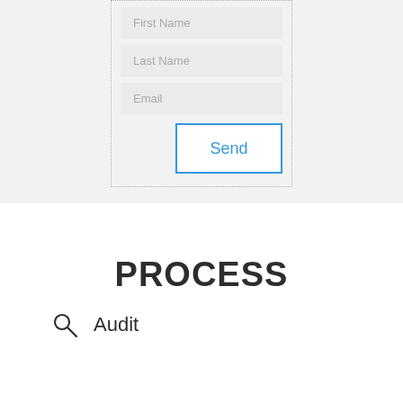[Figure (screenshot): Web form with Last Name and Email input fields and a Send button, inside a dotted border container on a light gray background]
PROCESS
Audit